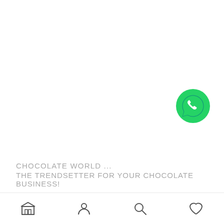[Figure (logo): WhatsApp green circle icon with white phone handset]
CHOCOLATE WORLD ...
THE TRENDSETTER FOR YOUR CHOCOLATE BUSINESS!
[Figure (other): Bottom navigation bar with store, person, search, and heart icons]